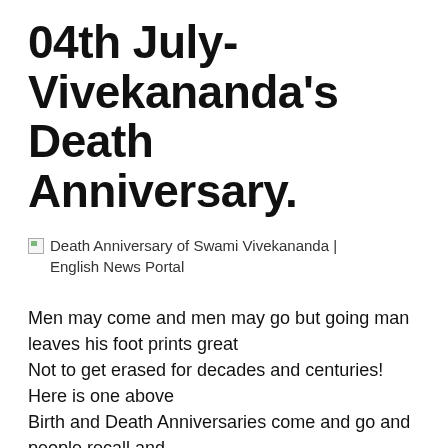04th July- Vivekananda's Death Anniversary.
[Figure (illustration): Broken image placeholder with alt text: Death Anniversary of Swami Vivekananda | English News Portal]
Men may come and men may go but going man leaves his foot prints great
Not to get erased for decades and centuries! Here is one above
Birth and Death Anniversaries come and go and people recall and
Revere! India that is Bharath has a lot of men of